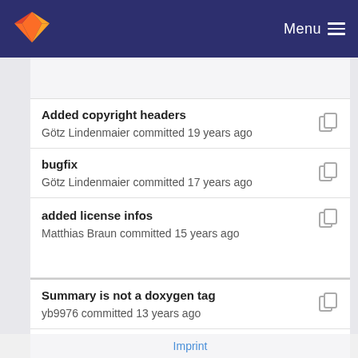GitLab — Menu
Added copyright headers — Götz Lindenmaier committed 19 years ago
bugfix — Götz Lindenmaier committed 17 years ago
added license infos — Matthias Braun committed 15 years ago
Summary is not a doxygen tag — yb9976 committed 13 years ago
added license infos — Matthias Braun committed 15 years ago
Imprint